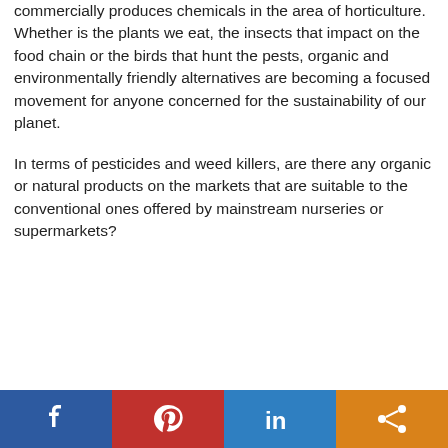commercially produces chemicals in the area of horticulture. Whether is the plants we eat, the insects that impact on the food chain or the birds that hunt the pests, organic and environmentally friendly alternatives are becoming a focused movement for anyone concerned for the sustainability of our planet.
In terms of pesticides and weed killers, are there any organic or natural products on the markets that are suitable to the conventional ones offered by mainstream nurseries or supermarkets?
[Figure (infographic): Social sharing bar with four buttons: Facebook (blue), Pinterest (red), LinkedIn (blue), Share (orange)]